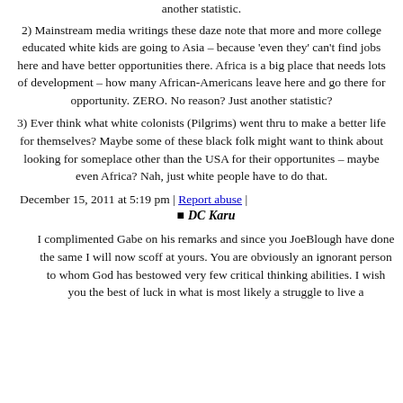another statistic.
2) Mainstream media writings these daze note that more and more college educated white kids are going to Asia – because 'even they' can't find jobs here and have better opportunities there. Africa is a big place that needs lots of development – how many African-Americans leave here and go there for opportunity. ZERO. No reason? Just another statistic?
3) Ever think what white colonists (Pilgrims) went thru to make a better life for themselves? Maybe some of these black folk might want to think about looking for someplace other than the USA for their opportunites – maybe even Africa? Nah, just white people have to do that.
December 15, 2011 at 5:19 pm | Report abuse |
■ DC Karu
I complimented Gabe on his remarks and since you JoeBlough have done the same I will now scoff at yours. You are obviously an ignorant person to whom God has bestowed very few critical thinking abilities. I wish you the best of luck in what is most likely a struggle to live a